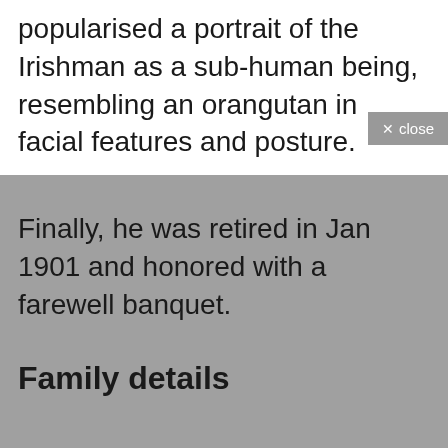popularised a portrait of the Irishman as a sub-human being, resembling an orangutan in facial features and posture.
Finally, he was retired in Jan 1901 and honored with a farewell banquet.
Family details